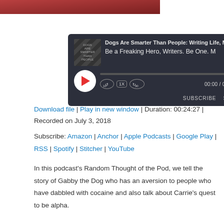[Figure (screenshot): Podcast player widget with dark background showing 'Dogs Are Smarter Than People: Writing Life, M...' and 'Be a Freaking Hero, Writers. Be One. M' with play button, progress bar, time 00:00 / 00:24:27, subscribe and share buttons]
Download file | Play in new window | Duration: 00:24:27 |
Recorded on July 3, 2018
Subscribe: Amazon | Anchor | Apple Podcasts | Google Play | RSS | Spotify | Stitcher | YouTube
In this podcast’s Random Thought of the Pod, we tell the story of Gabby the Dog who has an aversion to people who have dabbled with cocaine and also talk about Carrie’s quest to be alpha.